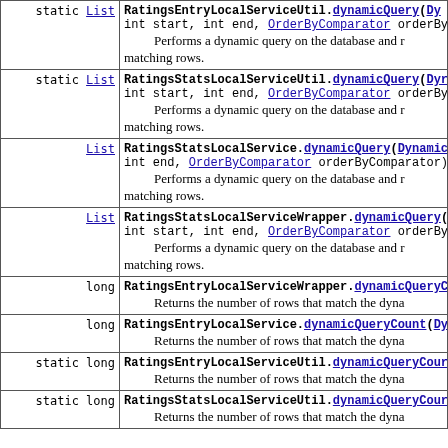| Return Type | Method |
| --- | --- |
| static List | RatingsEntryLocalServiceUtil.dynamicQuery(Dy... int start, int end, OrderByComparator orderBy... Performs a dynamic query on the database and r... matching rows. |
| static List | RatingsStatsLocalServiceUtil.dynamicQuery(Dyr... int start, int end, OrderByComparator orderBy... Performs a dynamic query on the database and r... matching rows. |
| List | RatingsStatsLocalService.dynamicQuery(Dynamic... int end, OrderByComparator orderByComparator)... Performs a dynamic query on the database and r... matching rows. |
| List | RatingsStatsLocalServiceWrapper.dynamicQuery(... int start, int end, OrderByComparator orderBy... Performs a dynamic query on the database and r... matching rows. |
| long | RatingsEntryLocalServiceWrapper.dynamicQueryC... Returns the number of rows that match the dyna... |
| long | RatingsEntryLocalService.dynamicQueryCount(Dy... Returns the number of rows that match the dyna... |
| static long | RatingsEntryLocalServiceUtil.dynamicQueryCour... Returns the number of rows that match the dyna... |
| static long | RatingsStatsLocalServiceUtil.dynamicQueryCour... Returns the number of rows that match the dyna... |